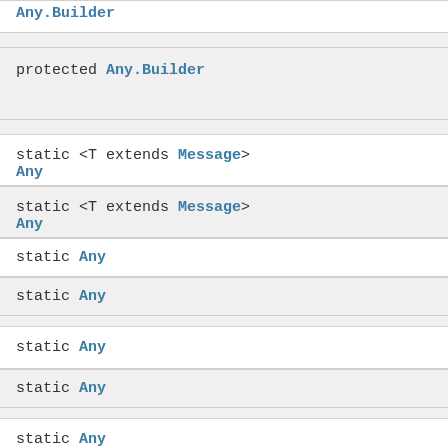Any.Builder
protected Any.Builder
static <T extends Message> Any
static <T extends Message> Any
static Any
static Any
static Any
static Any
static Any